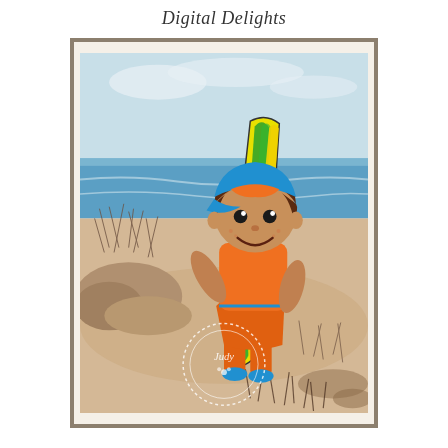Digital Delights
[Figure (illustration): A greeting card mounted on a brown/taupe mat with white inner border. The card shows a cartoon boy at the beach holding a colorful surfboard (green and yellow stripes). The boy wears an orange shirt, blue cap, and orange shorts. Beach scene background with ocean, sky, sand dunes, and beach grass rendered in sepia/monochrome. A circular watermark/stamp with 'Judy' is visible in the lower center of the card.]